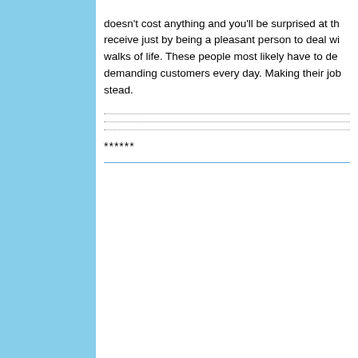doesn't cost anything and you'll be surprised at the receive just by being a pleasant person to deal with walks of life. These people most likely have to dea demanding customers every day. Making their job stead.
******
Share this page: What's This?
Google StumbleUpon Buz Ted
Enjoy this page? Please pay it
PROTECTED BY COPYSCAPE
mcfarlanes-figures Privacy Policy © Copyright and Copy
All trademarks and registered trademarks, whether or not so identified, are acknowi does not imply that such use has been authorised, en